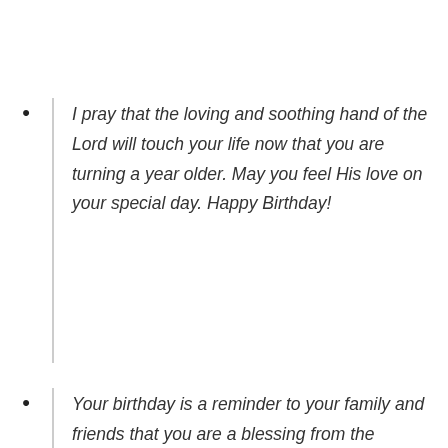I pray that the loving and soothing hand of the Lord will touch your life now that you are turning a year older. May you feel His love on your special day. Happy Birthday!
Your birthday is a reminder to your family and friends that you are a blessing from the heavens above. Happy Birthday!
Your faith will show you the way even if you get lost along life's many complex...